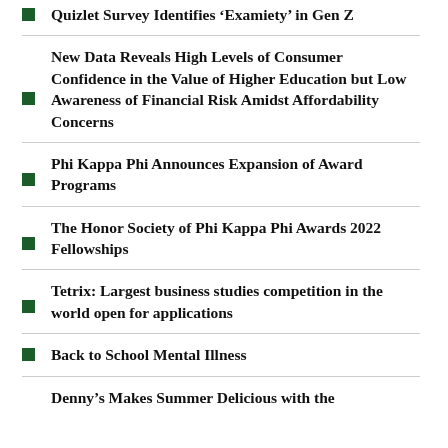Quizlet Survey Identifies ‘Examiety’ in Gen Z
New Data Reveals High Levels of Consumer Confidence in the Value of Higher Education but Low Awareness of Financial Risk Amidst Affordability Concerns
Phi Kappa Phi Announces Expansion of Award Programs
The Honor Society of Phi Kappa Phi Awards 2022 Fellowships
Tetrix: Largest business studies competition in the world open for applications
Back to School Mental Illness
Denny’s Makes Summer Delicious with the